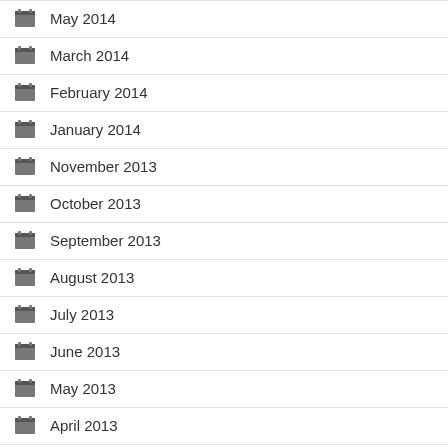May 2014
March 2014
February 2014
January 2014
November 2013
October 2013
September 2013
August 2013
July 2013
June 2013
May 2013
April 2013
March 2013
February 2013
January 2013